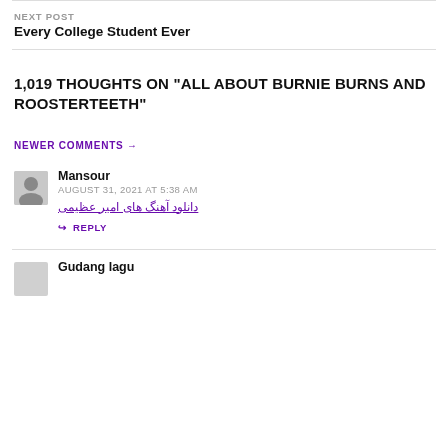NEXT POST
Every College Student Ever
1,019 THOUGHTS ON “ALL ABOUT BURNIE BURNS AND ROOSTERTEETH”
NEWER COMMENTS →
Mansour
AUGUST 31, 2021 AT 5:38 AM
دانلود آهنگ های امیر عظیمی
REPLY
Gudang lagu